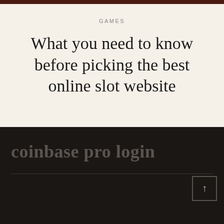GAMES
What you need to know before picking the best online slot website
coinbase pro login
© Copyright 2022 The Call. Presto Blog | Developed By SublimeTheme. Powered by WordPress. Privacy Policy